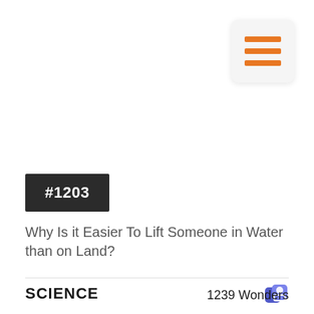[Figure (other): Hamburger menu icon with three orange horizontal lines on a light gray rounded square background]
#1203
Why Is it Easier To Lift Someone in Water than on Land?
SCIENCE
1239 Wonders